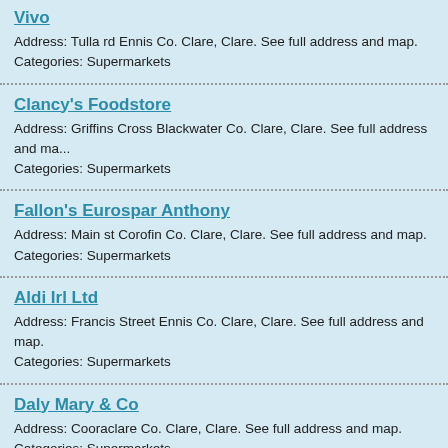Vivo
Address: Tulla rd Ennis Co. Clare, Clare. See full address and map.
Categories: Supermarkets
Clancy's Foodstore
Address: Griffins Cross Blackwater Co. Clare, Clare. See full address and map.
Categories: Supermarkets
Fallon's Eurospar Anthony
Address: Main st Corofin Co. Clare, Clare. See full address and map.
Categories: Supermarkets
Aldi Irl Ltd
Address: Francis Street Ennis Co. Clare, Clare. See full address and map.
Categories: Supermarkets
Daly Mary & Co
Address: Cooraclare Co. Clare, Clare. See full address and map.
Categories: Supermarkets
Carrig Sean & Martina